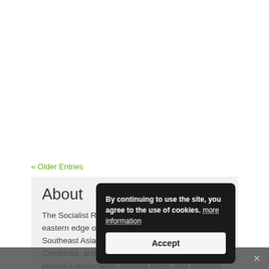« Older Entries
About
The Socialist Rep...cated on the eastern edge of the Indochina Peninsula in Southeast Asia. Vietnam borders China, Laos, Cambodia, and...known for its beautiful landscapes, winding rivers, and stunning shorelines.
By continuing to use the site, you agree to the use of cookies. more information
Accept
Share This ∨